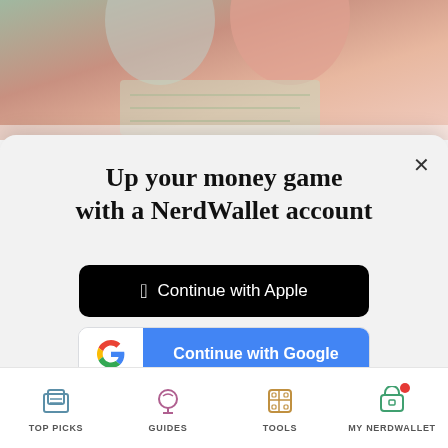[Figure (photo): Cropped photo of two people looking at a map, partially visible at top of page]
Up your money game with a NerdWallet account
Continue with Apple
Continue with Google
or continue with email
By signing up, I agree to NerdWallet's Terms of Service and Privacy Policy.
TOP PICKS   GUIDES   TOOLS   MY NERDWALLET